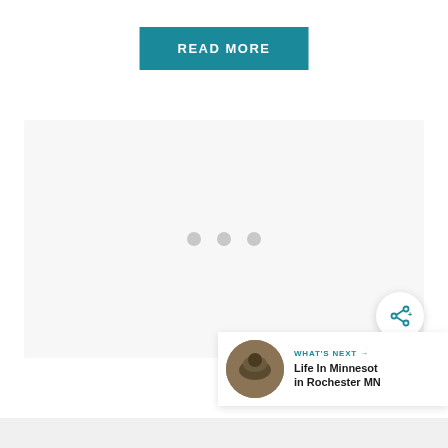READ MORE
[Figure (other): Large light gray content area with three small gray dots centered, indicating a loading or placeholder state]
[Figure (other): Circular share button with share icon (arrow with plus)]
[Figure (other): What's Next bar with food thumbnail image, label 'WHAT'S NEXT →', and title 'Life In Minnesota in Rochester MN']